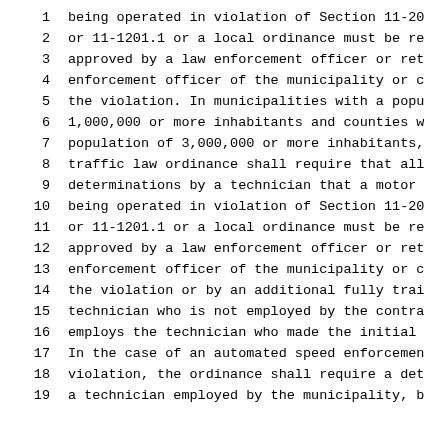1    being operated in violation of Section 11-20
2    or 11-1201.1 or a local ordinance must be re
3    approved by a law enforcement officer or ret
4    enforcement officer of the municipality or c
5    the violation. In municipalities with a popu
6    1,000,000 or more inhabitants and counties w
7    population of 3,000,000 or more inhabitants,
8    traffic law ordinance shall require that all
9    determinations by a technician that a motor
10   being operated in violation of Section 11-20
11   or 11-1201.1 or a local ordinance must be re
12   approved by a law enforcement officer or ret
13   enforcement officer of the municipality or c
14   the violation or by an additional fully trai
15   technician who is not employed by the contra
16   employs the technician who made the initial
17   In the case of an automated speed enforcemen
18   violation, the ordinance shall require a det
19   a technician employed by the municipality, b